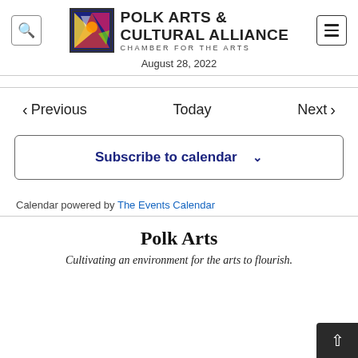POLK ARTS & CULTURAL ALLIANCE CHAMBER FOR THE ARTS — August 28, 2022
< Previous    Today    Next >
Subscribe to calendar ∨
Calendar powered by The Events Calendar
Polk Arts
Cultivating an environment for the arts to flourish.